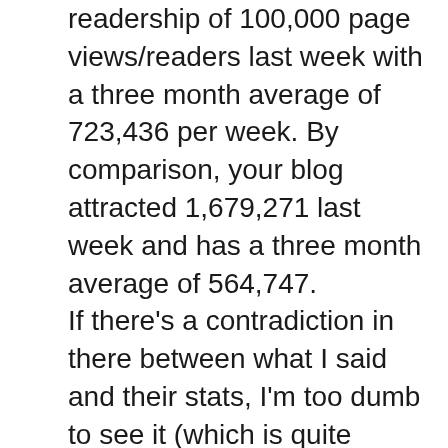readership of 100,000 page views/readers last week with a three month average of 723,436 per week. By comparison, your blog attracted 1,679,271 last week and has a three month average of 564,747. If there's a contradiction in there between what I said and their stats, I'm too dumb to see it (which is quite likely!). For what it's worth, according to Typepad's stats, as of 11:47 am I have had 1200 hits today and my average for the last seven days is 6474. My biggest days, for reasons I don't understand, have always been Mondays and Wednesdays. It seems to me that, considering the readership your blog draws, you